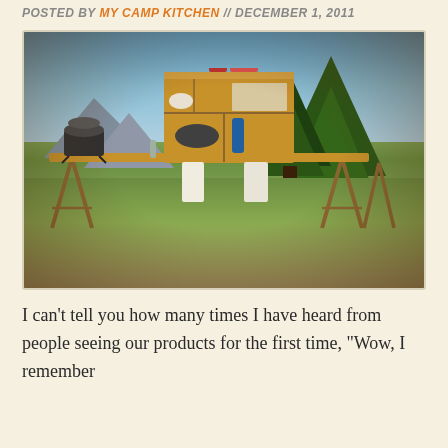POSTED BY MY CAMP KITCHEN // DECEMBER 1, 2011
[Figure (photo): Outdoor camp kitchen setup made of wood with shelves, storage compartments, and cooking area on sawhorses in a grassy field with trees and mountains in the background. Vintage-style photo with warm tones and vignette.]
I can't tell you how many times I have heard from people seeing our products for the first time, "Wow, I remember